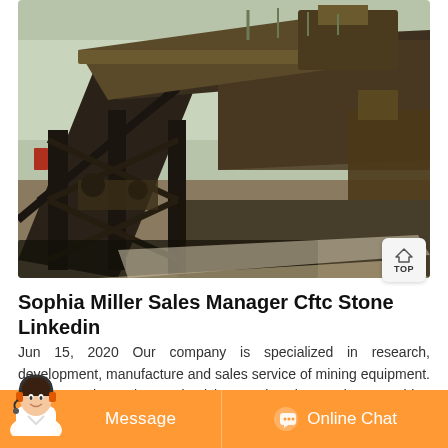[Figure (photo): Industrial mining equipment — a large inclined conveyor/screening structure made of metal frames, photographed outdoors in a yard with bare trees and other machinery in the background.]
Sophia Miller Sales Manager Cftc Stone Linkedin
Jun 15, 2020 Our company is specialized in research, development, manufacture and sales service of mining equipment. We have the only academician workstation and researching center of high-quality aggregate. Our products have been exported to market of Southeast